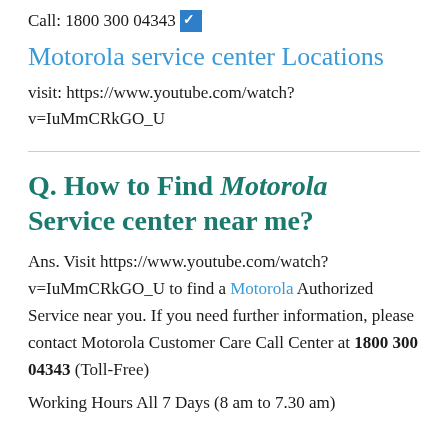Call: 1800 300 04343 ☑
Motorola service center Locations
visit: https://www.youtube.com/watch?v=IuMmCRkGO_U
Q. How to Find Motorola Service center near me?
Ans. Visit https://www.youtube.com/watch?v=IuMmCRkGO_U to find a Motorola Authorized Service near you. If you need further information, please contact Motorola Customer Care Call Center at 1800 300 04343 (Toll-Free)
Working Hours All 7 Days (8 am to 7.30 am)